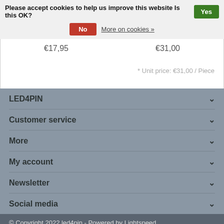Please accept cookies to help us improve this website Is this OK? Yes
No  More on cookies »
€17,95
€31,00
* Unit price: €31,00 / Piece
LED4PIN
Customer service
More
My account
Newsletter
Social media
© Copyright 2022 led4pin - Powered by Lightspeed